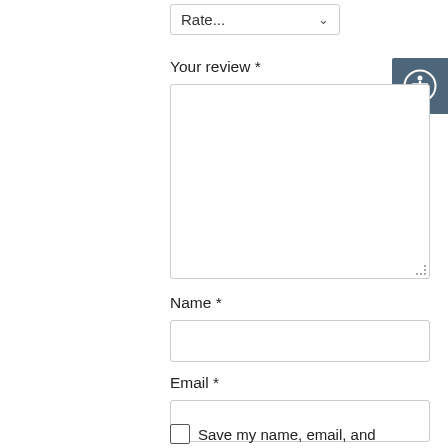[Figure (screenshot): A dropdown selector showing 'Rate...' with a chevron arrow, representing a star rating input field]
Your review *
[Figure (screenshot): A large textarea input box for writing a review, with resize handle at bottom-right]
Name *
[Figure (screenshot): A single-line text input box for the name field]
Email *
[Figure (screenshot): A single-line text input box for the email field]
Save my name, email, and